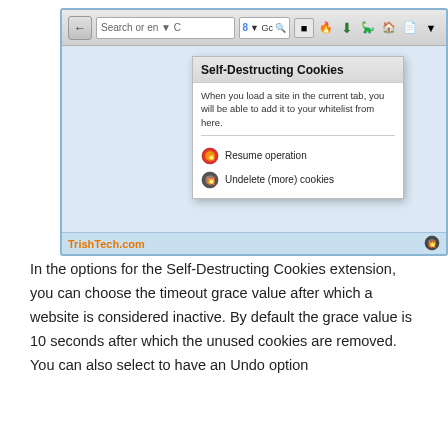[Figure (screenshot): Browser screenshot showing a Self-Destructing Cookies extension popup panel with options: Resume operation and Undelete (more) cookies. The browser toolbar shows navigation buttons and address bar. A TrishTech.com watermark appears in the bottom status bar.]
In the options for the Self-Destructing Cookies extension, you can choose the timeout grace value after which a website is considered inactive. By default the grace value is 10 seconds after which the unused cookies are removed. You can also select to have an Undo option